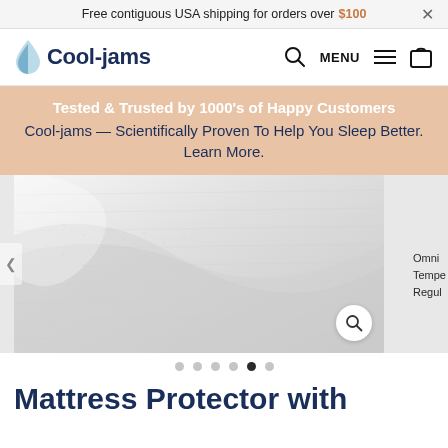Free contiguous USA shipping for orders over $100
[Figure (logo): Cool-jams logo with water droplet icon and text]
Tested & Trusted by 1000's of Happy Customers
Cool-jams — Scientifically Proven To Help You Sleep Better. Learn More.
[Figure (photo): Close-up photo of white fabric texture for mattress protector]
Mattress Protector with